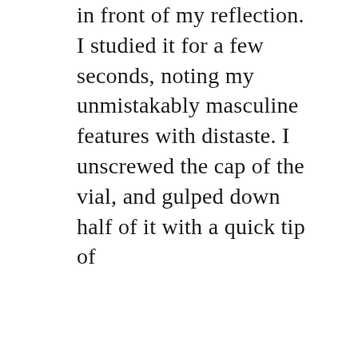in front of my reflection. I studied it for a few seconds, noting my unmistakably masculine features with distaste. I unscrewed the cap of the vial, and gulped down half of it with a quick tip of